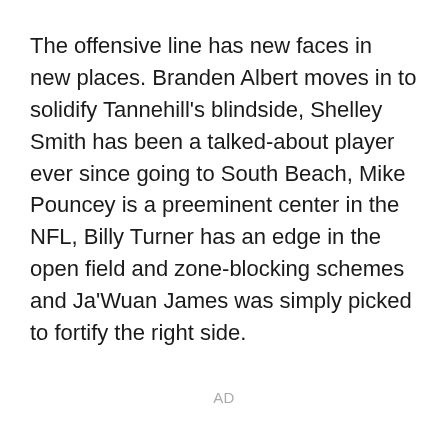The offensive line has new faces in new places. Branden Albert moves in to solidify Tannehill's blindside, Shelley Smith has been a talked-about player ever since going to South Beach, Mike Pouncey is a preeminent center in the NFL, Billy Turner has an edge in the open field and zone-blocking schemes and Ja'Wuan James was simply picked to fortify the right side.
AD